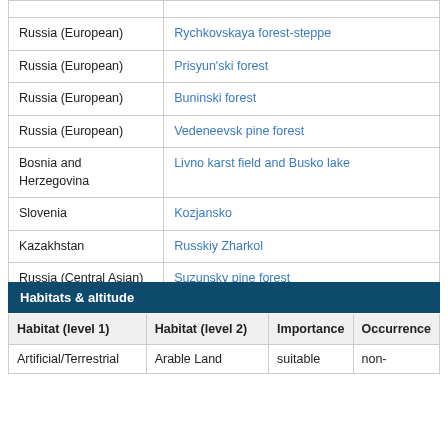|  |  |
| --- | --- |
|  |  |
| Russia (European) | Rychkovskaya forest-steppe |
| Russia (European) | Prisyun'ski forest |
| Russia (European) | Buninski forest |
| Russia (European) | Vedeneevsk pine forest |
| Bosnia and Herzegovina | Livno karst field and Busko lake |
| Slovenia | Kozjansko |
| Kazakhstan | Russkiy Zharkol |
| Russia (Central Asian) | Suzunsky pine forest |
Habitats & altitude
| Habitat (level 1) | Habitat (level 2) | Importance | Occurrence |
| --- | --- | --- | --- |
| Artificial/Terrestrial | Arable Land | suitable | non- |